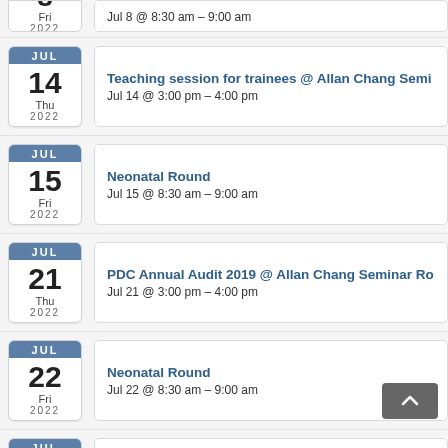Jul 8 @ 8:30 am – 9:00 am (partial, Fri 2022)
Teaching session for trainees @ Allan Chang Semi...
Jul 14 @ 3:00 pm – 4:00 pm
Thu 2022
Neonatal Round
Jul 15 @ 8:30 am – 9:00 am
Fri 2022
PDC Annual Audit 2019 @ Allan Chang Seminar Ro...
Jul 21 @ 3:00 pm – 4:00 pm
Thu 2022
Neonatal Round
Jul 22 @ 8:30 am – 9:00 am
Fri 2022
JUL (partial bottom)